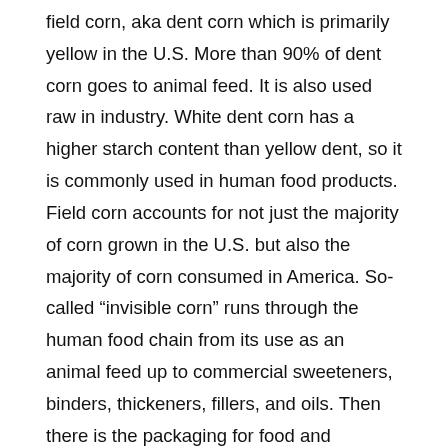field corn, aka dent corn which is primarily yellow in the U.S. More than 90% of dent corn goes to animal feed. It is also used raw in industry. White dent corn has a higher starch content than yellow dent, so it is commonly used in human food products. Field corn accounts for not just the majority of corn grown in the U.S. but also the majority of corn consumed in America. So-called “invisible corn” runs through the human food chain from its use as an animal feed up to commercial sweeteners, binders, thickeners, fillers, and oils. Then there is the packaging for food and beverages that are made from corn products, along with a host of other biochemical and bioplastic uses. Of course, there is also corn-derived ethanol in the gas tank and probably even corn in the tires of the trucks and cars that transport all this stuff.
Our ability to chemically manipulate corn is almost magical, resulting in so many varied and unexpected uses, the list